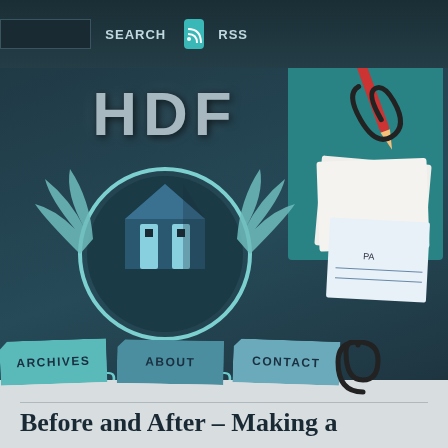SEARCH   RSS
[Figure (logo): HDF HomeDesignFind.com logo with winged house icon on dark teal background]
[Figure (illustration): Ruler, pencil, paper clip, blueprint papers on teal background — design/architecture desk items]
ARCHIVES
ABOUT
CONTACT
Before and After – Making a